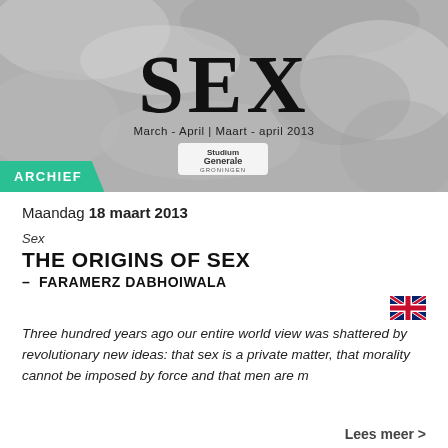[Figure (photo): Black and white photo of crumpled fabric/sheets with large black text 'SEX' overlaid, along with subtitle 'March - April | Maart - april 2013' and 'Studium Generale Groningen' logo. An 'ARCHIEF' green badge is overlaid at bottom-left.]
Maandag 18 maart 2013
Sex
THE ORIGINS OF SEX
– FARAMERZ DABHOIWALA
[Figure (illustration): UK flag (Union Jack) icon]
Three hundred years ago our entire world view was shattered by revolutionary new ideas: that sex is a private matter, that morality cannot be imposed by force and that men are m
Lees meer >